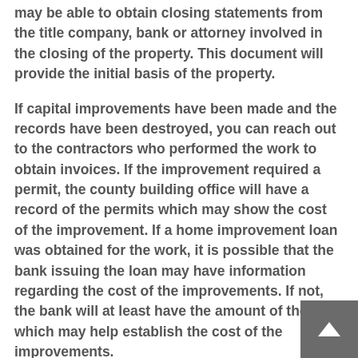may be able to obtain closing statements from the title company, bank or attorney involved in the closing of the property. This document will provide the initial basis of the property.
If capital improvements have been made and the records have been destroyed, you can reach out to the contractors who performed the work to obtain invoices. If the improvement required a permit, the county building office will have a record of the permits which may show the cost of the improvement. If a home improvement loan was obtained for the work, it is possible that the bank issuing the loan may have information regarding the cost of the improvements. If not, the bank will at least have the amount of the loan which may help establish the cost of the improvements.
The fair market value of the property prior to the loss can be established by having an appraiser review